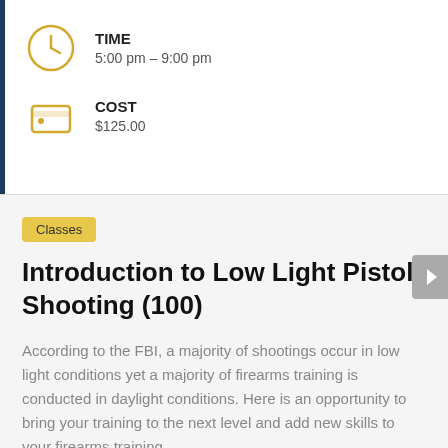TIME
5:00 pm – 9:00 pm
COST
$125.00
Classes
Introduction to Low Light Pistol Shooting (100)
According to the FBI, a majority of shootings occur in low light conditions yet a majority of firearms training is conducted in daylight conditions. Here is an opportunity to bring your training to the next level and add new skills to your firearms training.